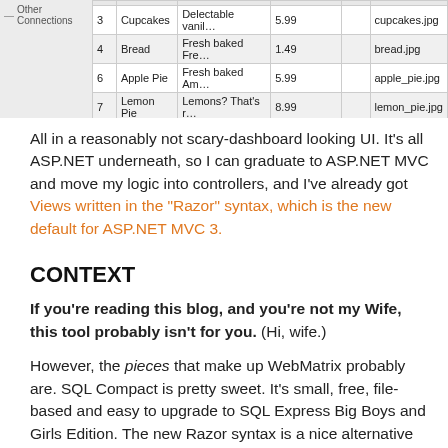[Figure (screenshot): Screenshot of a database table UI showing rows for Cupcakes, Bread, Apple Pie, and Lemon Pie with columns for ID, name, description, price, and image filename. A left panel shows 'Other Connections'.]
All in a reasonably not scary-dashboard looking UI. It's all ASP.NET underneath, so I can graduate to ASP.NET MVC and move my logic into controllers, and I've already got Views written in the "Razor" syntax, which is the new default for ASP.NET MVC 3.
CONTEXT
If you're reading this blog, and you're not my Wife, this tool probably isn't for you. (Hi, wife.)
However, the pieces that make up WebMatrix probably are. SQL Compact is pretty sweet. It's small, free, file-based and easy to upgrade to SQL Express Big Boys and Girls Edition. The new Razor syntax is a nice alternative to the WebForms Syntax (as are other alternative ViewEngines). IIS Express is hotness, especially if you've